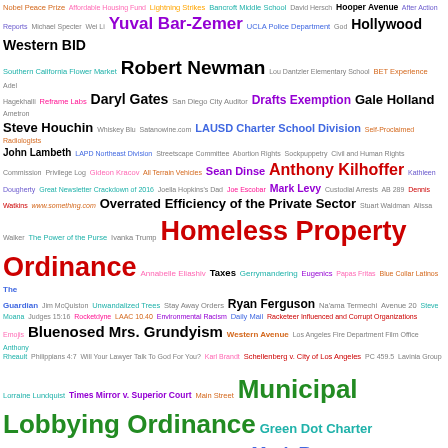[Figure (infographic): A word cloud featuring various terms related to Los Angeles government, legal cases, people, and organizations. Key large terms include 'Homeless Property Ordinance', 'Municipal Lobbying Ordinance', 'CPRA 6255', 'Motion to Dismiss', 'Mark Ryavec', 'Anthony Kilhoffer', 'Ryan Ferguson', 'Bluenosed Mrs. Grundyism', 'Robert Newman', 'Gale Holland', etc. Terms appear in various colors including red, green, blue, purple, orange, teal, and black, with sizes indicating prominence.]